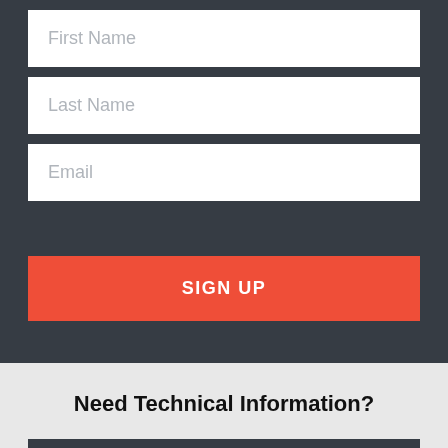First Name
Last Name
Email
SIGN UP
Need Technical Information?
VISIT OUR SPECIFIER SITE